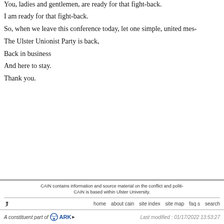You, ladies and gentlemen, are ready for that fight-back.
I am ready for that fight-back.
So, when we leave this conference today, let one simple, united mes-
The Ulster Unionist Party is back,
Back in business
And here to stay.
Thank you.
CAIN contains information and source material on the conflict and politi- CAIN is based within Ulster University.
home   about cain   site index   site map   faq s   search
A constituent part of ARK ▸   Last modified : 01/17/2022 13:53:27